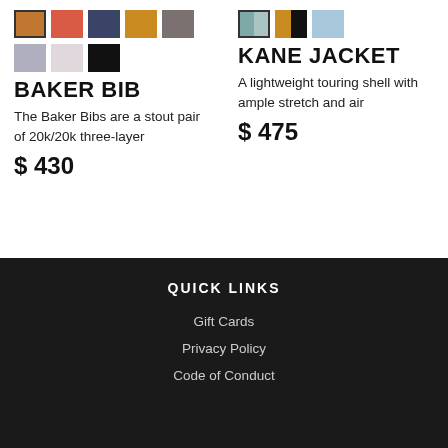[Figure (other): Color swatches for Baker Bib: brown (selected/outlined), red-orange, navy, amber, grey, light grey, light pink, black]
BAKER BIB
The Baker Bibs are a stout pair of 20k/20k three-layer
$ 430
[Figure (other): Color swatches for Kane Jacket: slate blue/teal split (selected/outlined), amber/black split, light blue]
KANE JACKET
A lightweight touring shell with ample stretch and air
$ 475
QUICK LINKS
Gift Cards
Privacy Policy
Code of Conduct